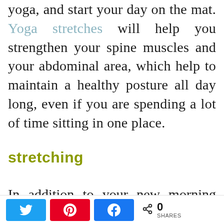yoga, and start your day on the mat. Yoga stretches will help you strengthen your spine muscles and your abdominal area, which help to maintain a healthy posture all day long, even if you are spending a lot of time sitting in one place.
stretching
In addition to your new morning routine be sure that